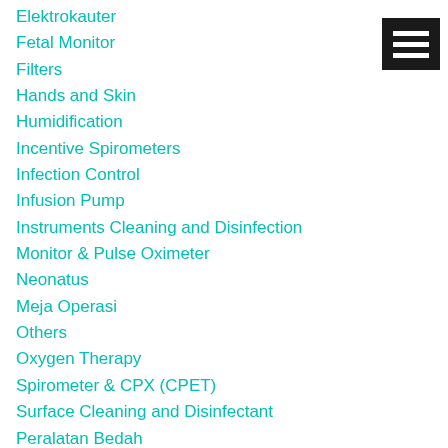Elektrokauter
Fetal Monitor
Filters
Hands and Skin
Humidification
Incentive Spirometers
Infection Control
Infusion Pump
Instruments Cleaning and Disinfection
Monitor & Pulse Oximeter
Neonatus
Meja Operasi
Others
Oxygen Therapy
Spirometer & CPX (CPET)
Surface Cleaning and Disinfectant
Peralatan Bedah
[Figure (illustration): Hamburger menu icon: black square with three white horizontal bars]